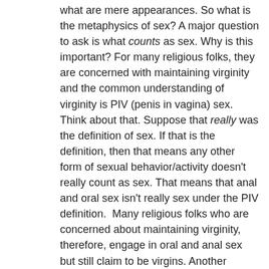what are mere appearances. So what is the metaphysics of sex? A major question to ask is what counts as sex. Why is this important? For many religious folks, they are concerned with maintaining virginity and the common understanding of virginity is PIV (penis in vagina) sex. Think about that. Suppose that really was the definition of sex. If that is the definition, then that means any other form of sexual behavior/activity doesn't really count as sex. That means that anal and oral sex isn't really sex under the PIV definition.  Many religious folks who are concerned about maintaining virginity, therefore, engage in oral and anal sex but still claim to be virgins. Another implication: if the PIV definition is true, then that means that gay sex and lesbian sex isn't really sex. Notice that if something isn't really sex, then PIV sex is the